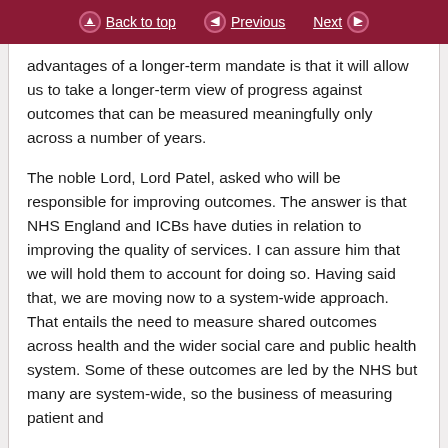Back to top | Previous | Next
advantages of a longer-term mandate is that it will allow us to take a longer-term view of progress against outcomes that can be measured meaningfully only across a number of years.
The noble Lord, Lord Patel, asked who will be responsible for improving outcomes. The answer is that NHS England and ICBs have duties in relation to improving the quality of services. I can assure him that we will hold them to account for doing so. Having said that, we are moving now to a system-wide approach. That entails the need to measure shared outcomes across health and the wider social care and public health system. Some of these outcomes are led by the NHS but many are system-wide, so the business of measuring patient and